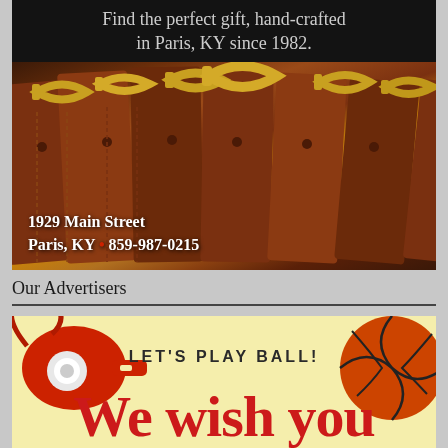[Figure (photo): Advertisement showing leather belts/buckles on dark background with text 'Find the perfect gift, hand-crafted in Paris, KY since 1982.' and address '1929 Main Street, Paris, KY • 859-987-0215']
Our Advertisers
[Figure (illustration): Advertisement with yellow background, red whistle on left, basketball on right, text 'LET'S PLAY BALL!' and 'We wish you']